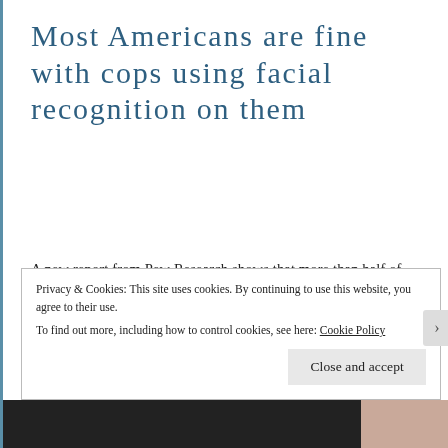Most Americans are fine with cops using facial recognition on them
A new report from Pew Research shows that more than half of Americans trust law enforcement to use facial recognition—it's the private tech companies they're suspicious of....
Privacy & Cookies: This site uses cookies. By continuing to use this website, you agree to their use.
To find out more, including how to control cookies, see here: Cookie Policy

Close and accept